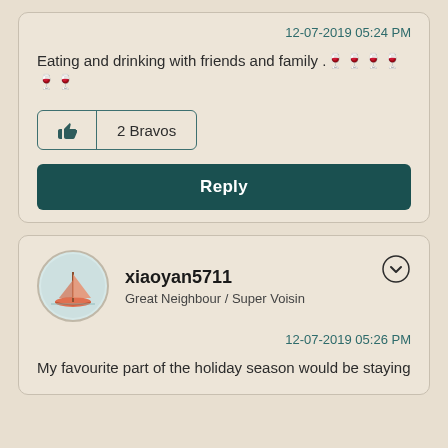12-07-2019 05:24 PM
Eating and drinking with friends and family .🍷🍷🍷🍷🍷🍷
2 Bravos
Reply
xiaoyan5711
Great Neighbour / Super Voisin
12-07-2019 05:26 PM
My favourite part of the holiday season would be staying